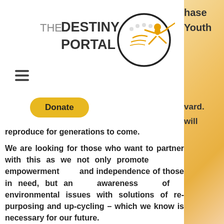[Figure (logo): The Destiny Portal logo with text and circular emblem featuring a person figure and gear/star elements]
hase Youth
[Figure (other): Hamburger menu icon (three horizontal lines)]
vard. will
[Figure (other): Donate button (PayPal-style yellow rounded button)]
reproduce for generations to come.
We are looking for those who want to partner with this as we not only promote empowerment and independence of those in need, but an awareness of environmental issues with solutions of re-purposing and up-cycling – which we know is necessary for our future.
Here is a quote from an organization that we have been following for many years. They have “rescued” over 10,000 children from prostitution over the 40 years they have been serving communities throughout the nation. They have a 75-80% retention rate – because it’s